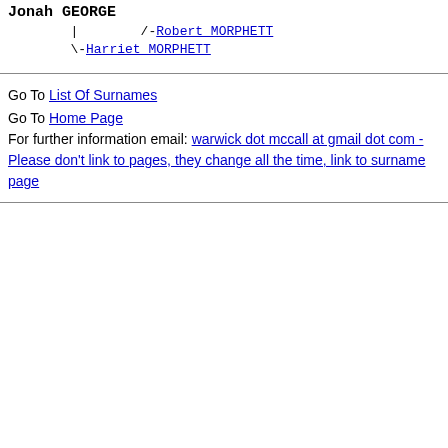Jonah GEORGE
    |        /-Robert MORPHETT
    \-Harriet MORPHETT
Go To List Of Surnames
Go To Home Page
For further information email: warwick dot mccall at gmail dot com - Please don't link to pages, they change all the time, link to surname page